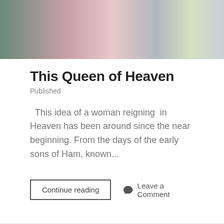[Figure (photo): Blurred photo banner showing colorful draped fabric or clothing in shades of teal, pink, beige, and yellow-green]
This Queen of Heaven
Published
This idea of a woman reigning in Heaven has been around since the near beginning. From the days of the early sons of Ham, known...
Continue reading
Leave a Comment